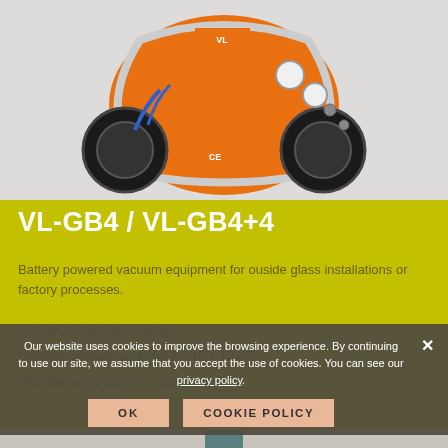[Figure (photo): Orange battery-powered vacuum equipment (VL-GB4) with suction cups and metal frame, on grey background]
VL-GB4 / VL-GB4+4
Battery powered vacuum equipment for ouside glass installations or factory processes.
Manual rotation and tilting.
Loading capacity up to 600Kg (EN-13155).
Variable distribution of suction cups.
Our website uses cookies to improve the browsing experience. By continuing to use our site, we assume that you accept the use of cookies. You can see our privacy policy.
[Figure (photo): Partial view of another vacuum lifting device at the bottom of the page]